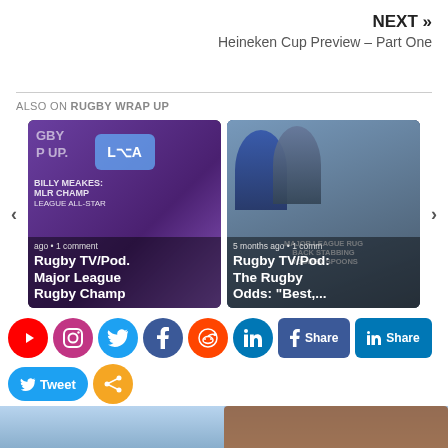NEXT »
Heineken Cup Preview – Part One
ALSO ON RUGBY WRAP UP
[Figure (screenshot): Carousel with two cards: 'Rugby TV/Pod. Major League Rugby Champ' and 'Rugby TV/Pod: The Rugby Odds: "Best,...' with prev/next arrows]
[Figure (screenshot): Social media share buttons: YouTube, Instagram, Twitter, Facebook, Reddit, LinkedIn, Facebook Share, LinkedIn Share, Tweet, and a share icon]